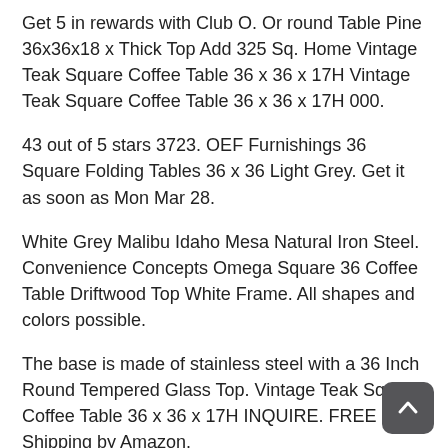Get 5 in rewards with Club O. Or round Table Pine 36x36x18 x Thick Top Add 325 Sq. Home Vintage Teak Square Coffee Table 36 x 36 x 17H Vintage Teak Square Coffee Table 36 x 36 x 17H 000.
43 out of 5 stars 3723. OEF Furnishings 36 Square Folding Tables 36 x 36 Light Grey. Get it as soon as Mon Mar 28.
White Grey Malibu Idaho Mesa Natural Iron Steel. Convenience Concepts Omega Square 36 Coffee Table Driftwood Top White Frame. All shapes and colors possible.
The base is made of stainless steel with a 36 Inch Round Tempered Glass Top. Vintage Teak Square Coffee Table 36 x 36 x 17H INQUIRE. FREE Shipping by Amazon.
Add an urban edge to any eclectic decor with the concrete chic coffee table. Qualified Orders Over 35 Ship Free. Has a criss-cross metal base with a shiny finish.